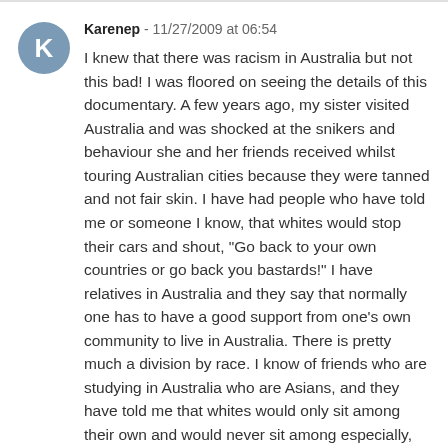Karenep - 11/27/2009 at 06:54
I knew that there was racism in Australia but not this bad! I was floored on seeing the details of this documentary. A few years ago, my sister visited Australia and was shocked at the snikers and behaviour she and her friends received whilst touring Australian cities because they were tanned and not fair skin. I have had people who have told me or someone I know, that whites would stop their cars and shout, "Go back to your own countries or go back you bastards!" I have relatives in Australia and they say that normally one has to have a good support from one's own community to live in Australia. There is pretty much a division by race. I know of friends who are studying in Australia who are Asians, and they have told me that whites would only sit among their own and would never sit among especially,